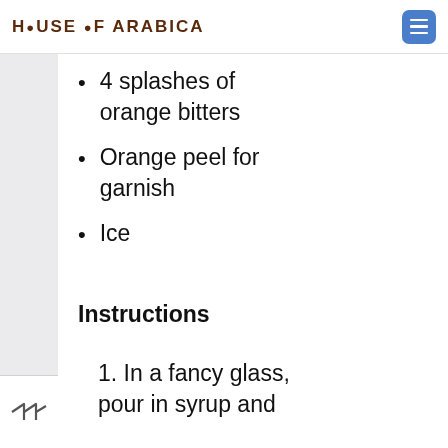HOUSE OF ARABICA
4 splashes of orange bitters
Orange peel for garnish
Ice
Instructions
1. In a fancy glass, pour in syrup and